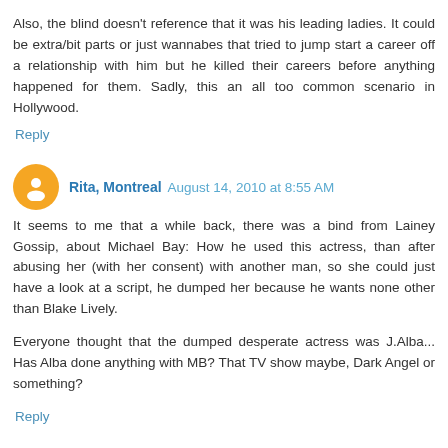Also, the blind doesn't reference that it was his leading ladies. It could be extra/bit parts or just wannabes that tried to jump start a career off a relationship with him but he killed their careers before anything happened for them. Sadly, this an all too common scenario in Hollywood.
Reply
Rita, Montreal  August 14, 2010 at 8:55 AM
It seems to me that a while back, there was a bind from Lainey Gossip, about Michael Bay: How he used this actress, than after abusing her (with her consent) with another man, so she could just have a look at a script, he dumped her because he wants none other than Blake Lively.
Everyone thought that the dumped desperate actress was J.Alba... Has Alba done anything with MB? That TV show maybe, Dark Angel or something?
Reply